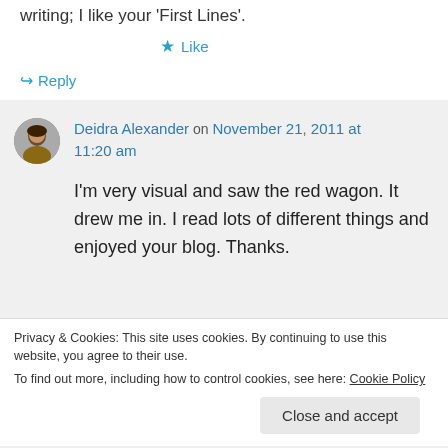writing; I like your 'First Lines'.
★ Like
↪ Reply
Deidra Alexander on November 21, 2011 at 11:20 am
I'm very visual and saw the red wagon. It drew me in. I read lots of different things and enjoyed your blog. Thanks.
Privacy & Cookies: This site uses cookies. By continuing to use this website, you agree to their use.
To find out more, including how to control cookies, see here: Cookie Policy
Close and accept
pm